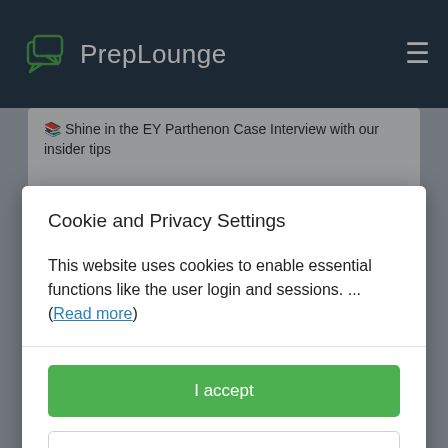PrepLounge
Shine in the EY Parthenon Case Interview with our insider tips
Bain Case Interview
Cookie and Privacy Settings
This website uses cookies to enable essential functions like the user login and sessions. ... (Read more)
I accept
Manage settings individually